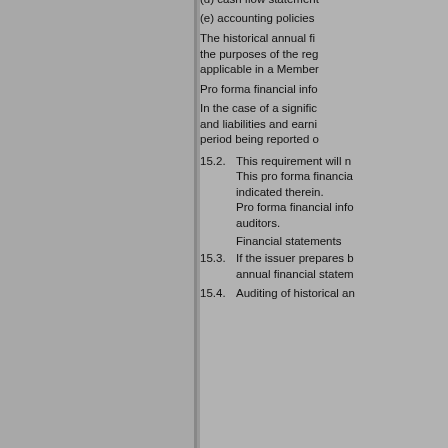(d) cash flow statement
(e) accounting policies
The historical annual financial information shall be prepared and presented for the purposes of the regulation using accounting standards applicable in a Member...
Pro forma financial info...
In the case of a significant gross change, pro forma information on assets and liabilities and earnings shall be provided, indicating the period being reported o...
15.2. This requirement will n...
This pro forma financial...
indicated therein.
Pro forma financial info...
auditors.
Financial statements
15.3. If the issuer prepares b... annual financial statem...
15.4. Auditing of historical an...